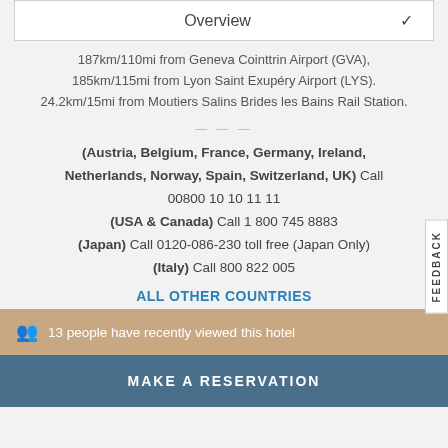Overview
187km/110mi from Geneva Cointtrin Airport (GVA), 185km/115mi from Lyon Saint Exupéry Airport (LYS). 24.2km/15mi from Moutiers Salins Brides les Bains Rail Station.
(Austria, Belgium, France, Germany, Ireland, Netherlands, Norway, Spain, Switzerland, UK) Call 00800 10 10 11 11
(USA & Canada) Call 1 800 745 8883
(Japan) Call 0120-086-230 toll free (Japan Only)
(Italy) Call 800 822 005
ALL OTHER COUNTRIES
13 people have recently viewed this hotel
MAKE A RESERVATION